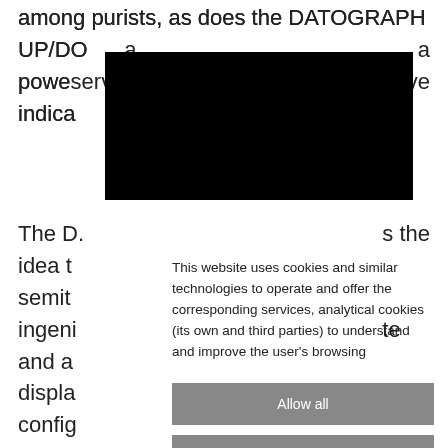among purists, as does the DATOGRAPH UP/DO... a powerful... serve indica...
[Figure (other): Black redaction bar covering part of the text]
The D... s the idea t... semiti... ingeni... te and a... displa... config... dimen...
This website uses cookies and similar technologies to operate and offer the corresponding services, analytical cookies (its own and third parties) to understand and improve the user's browsing
Allow all
Decline all
Configure